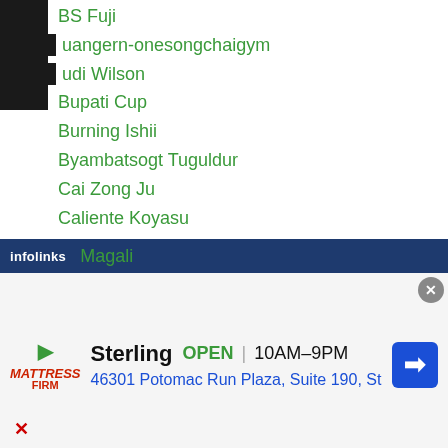BS Fuji
Buangern-onesongchaigym
Budi Wilson
Bupati Cup
Burning Ishii
Byambatsogt Tuguldur
Cai Zong Ju
Caliente Koyasu
Campee Phayon
Cancelled
Can Xu
Carleans Rivas
Carl Jammes Martin
Carlo Caesar Penalosa
Carlo Demecillo
Magali
[Figure (screenshot): Infolinks advertisement bar with Mattress Firm ad showing Sterling location, OPEN, 10AM-9PM, 46301 Potomac Run Plaza, Suite 190, St]